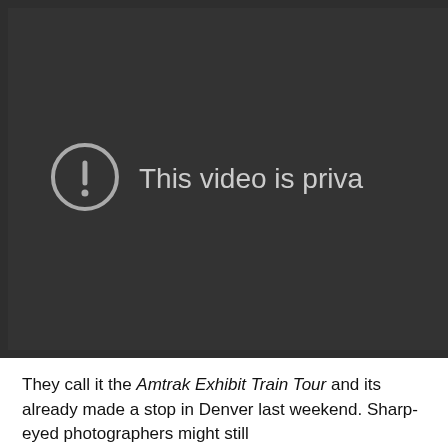[Figure (screenshot): A video player showing a dark background with a circular exclamation mark icon and the text 'This video is priva' (truncated). The video is private.]
They call it the Amtrak Exhibit Train Tour and its already made a stop in Denver last weekend. Sharp-eyed photographers might still